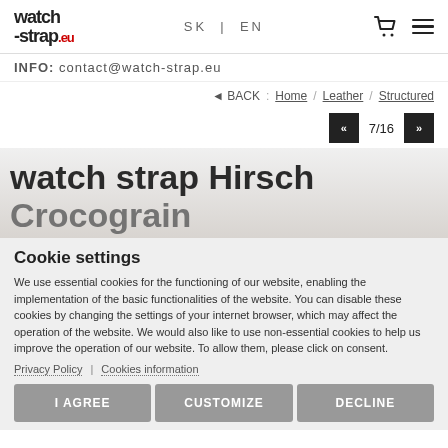watch-strap.eu | SK | EN
INFO: contact@watch-strap.eu
◄ BACK : Home / Leather / Structured
7/16
watch strap Hirsch Crocograin
Cookie settings
We use essential cookies for the functioning of our website, enabling the implementation of the basic functionalities of the website. You can disable these cookies by changing the settings of your internet browser, which may affect the operation of the website. We would also like to use non-essential cookies to help us improve the operation of our website. To allow them, please click on consent.
Privacy Policy | Cookies information
I AGREE | CUSTOMIZE | DECLINE